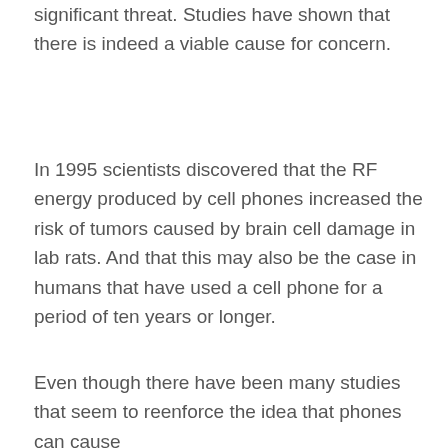significant threat. Studies have shown that there is indeed a viable cause for concern.
In 1995 scientists discovered that the RF energy produced by cell phones increased the risk of tumors caused by brain cell damage in lab rats. And that this may also be the case in humans that have used a cell phone for a period of ten years or longer.
Even though there have been many studies that seem to reenforce the idea that phones can cause us harm, there is no conclusive proof that these